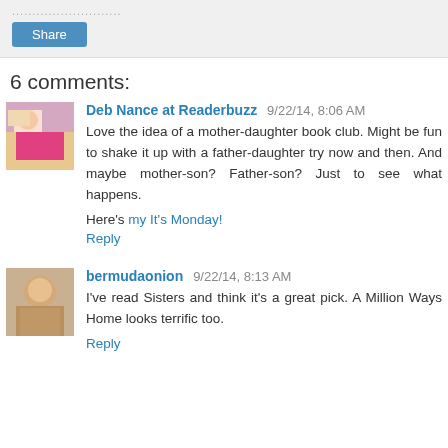......................
Share
6 comments:
Deb Nance at Readerbuzz 9/22/14, 8:06 AM
Love the idea of a mother-daughter book club. Might be fun to shake it up with a father-daughter try now and then. And maybe mother-son? Father-son? Just to see what happens.

Here's my It's Monday!
Reply
bermudaonion 9/22/14, 8:13 AM
I've read Sisters and think it's a great pick. A Million Ways Home looks terrific too.
Reply